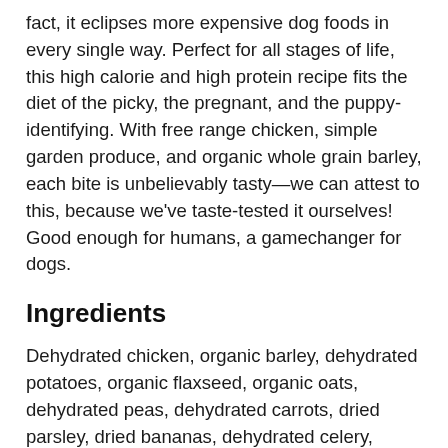fact, it eclipses more expensive dog foods in every single way. Perfect for all stages of life, this high calorie and high protein recipe fits the diet of the picky, the pregnant, and the puppy-identifying. With free range chicken, simple garden produce, and organic whole grain barley, each bite is unbelievably tasty—we can attest to this, because we've taste-tested it ourselves! Good enough for humans, a gamechanger for dogs.
Ingredients
Dehydrated chicken, organic barley, dehydrated potatoes, organic flaxseed, organic oats, dehydrated peas, dehydrated carrots, dried parsley, dried bananas, dehydrated celery, dehydrated organic kelp, minerals [tricalcium phosphate, sodium chloride, potassium chloride, choline chloride, zinc amino acid chelate, iron amino acid chelate, potassium iodide, copper amino acid chelate, sodium selenite], taurine, vitamins [vitamin E supplement, vitamin B12 supplement, thiamine mononitrate